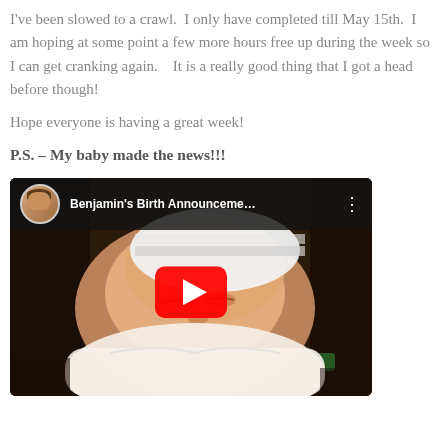I've been slowed to a crawl.  I only have completed till May 15th.  I am hoping at some point a few more hours free up during the week so I can get cranking again.    It is a really good thing that I got a head before though!
Hope everyone is having a great week!
P.S. – My baby made the news!!!
[Figure (screenshot): YouTube video embed showing a newborn baby with a white hat, with YouTube play button overlay and video title 'Benjamin's Birth Announceme...' with user avatar in the top bar]